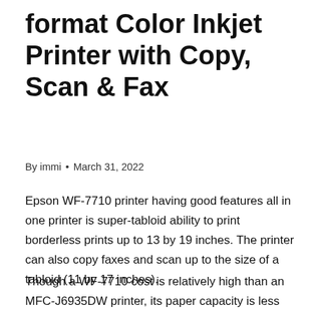format Color Inkjet Printer with Copy, Scan & Fax
By immi • March 31, 2022
Epson WF-7710 printer having good features all in one printer is super-tabloid ability to print borderless prints up to 13 by 19 inches. The printer can also copy faxes and scan up to the size of a tabloid (11 by 17 inches).
Though a WF-7710 cost is relatively high than an MFC-J6935DW printer, its paper capacity is less than half? Although, Epson WF-1170 is a perfect